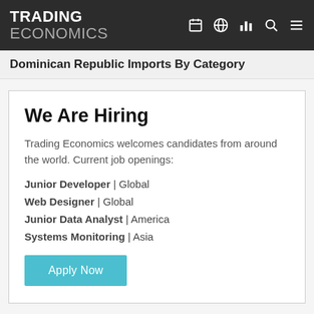TRADING ECONOMICS
Dominican Republic Imports By Category
We Are Hiring
Trading Economics welcomes candidates from around the world. Current job openings:
Junior Developer | Global
Web Designer | Global
Junior Data Analyst | America
Systems Monitoring | Asia
Apply Now